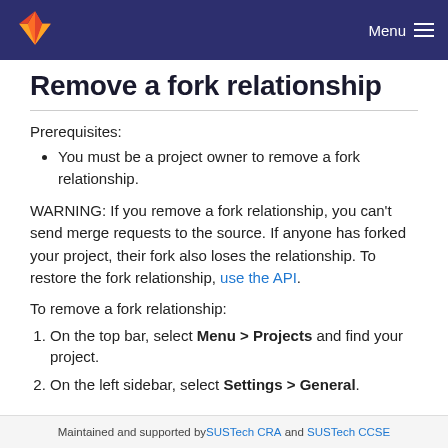Menu
Remove a fork relationship
Prerequisites:
You must be a project owner to remove a fork relationship.
WARNING: If you remove a fork relationship, you can't send merge requests to the source. If anyone has forked your project, their fork also loses the relationship. To restore the fork relationship, use the API.
To remove a fork relationship:
On the top bar, select Menu > Projects and find your project.
On the left sidebar, select Settings > General.
Maintained and supported by SUSTech CRA and SUSTech CCSE